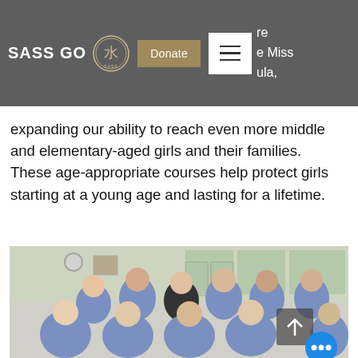SASS GO [logo] Donate [menu] re e Miss ula,
expanding our ability to reach even more middle and elementary-aged girls and their families.  These age-appropriate courses help protect girls starting at a young age and lasting for a lifetime.
[Figure (photo): Group photo of approximately 10 women, most wearing blue SASS GO t-shirts, posing together indoors in two rows]